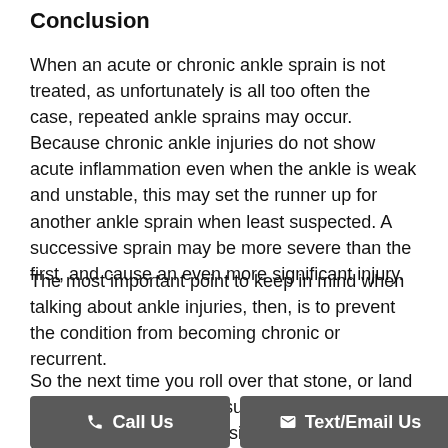Conclusion
When an acute or chronic ankle sprain is not treated, as unfortunately is all too often the case, repeated ankle sprains may occur. Because chronic ankle injuries do not show acute inflammation even when the ankle is weak and unstable, this may set the runner up for another ankle sprain when least suspected. A successive sprain may be more severe than the first, and cause an even more significant injury.
The most important point to keep in mind when talking about ankle injuries, then, is to prevent the condition from becoming chronic or recurrent.
So the next time you roll over that stone, or land in that small hole, make sure that your simple ankle sprain is just that: “simple”.
If you